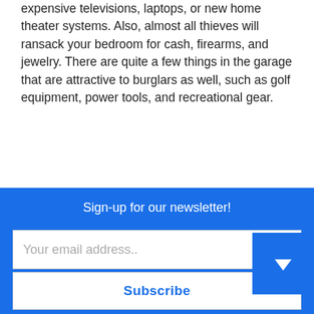expensive televisions, laptops, or new home theater systems. Also, almost all thieves will ransack your bedroom for cash, firearms, and jewelry. There are quite a few things in the garage that are attractive to burglars as well, such as golf equipment, power tools, and recreational gear.
How Can I Protect Such Items?
Residential security professionals suggest hiding your valuable electronics or storing them in a high-quality safe. You should also keep your firearms, cash, and jewelry in the safe to prevent crooks from grabbing these treasures.
It's crucial to install a residential security system with
Sign-up for our newsletter!
Your email address..
Subscribe